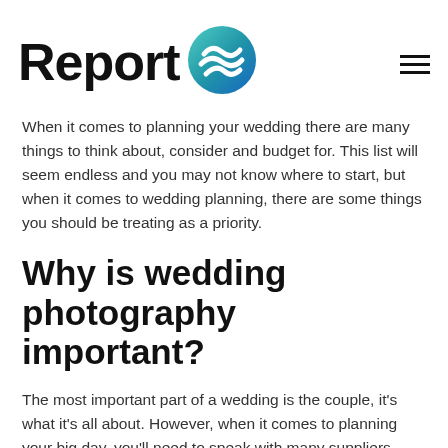Report
When it comes to planning your wedding there are many things to think about, consider and budget for. This list will seem endless and you may not know where to start, but when it comes to wedding planning, there are some things you should be treating as a priority.
Why is wedding photography important?
The most important part of a wedding is the couple, it's what it's all about. However, when it comes to planning your big day, you'll need to speak with many suppliers, from florists, bridal boutiques, catering, designer stationery, the list goes on, all of these people will tell you how important it is to do it right. Getting the right flowers, the best food, the perfect dress, which is good, you want to work with people who are passionate, but are they all priorities? Of course, they are important but are they